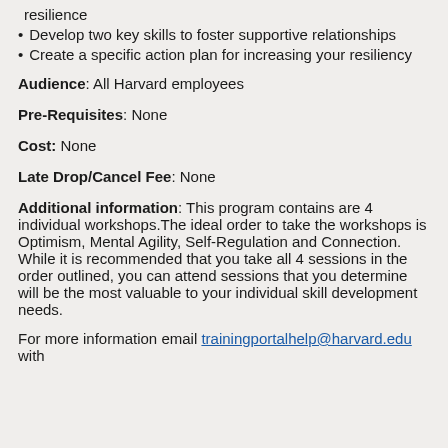resilience
Develop two key skills to foster supportive relationships
Create a specific action plan for increasing your resiliency
Audience: All Harvard employees
Pre-Requisites: None
Cost: None
Late Drop/Cancel Fee: None
Additional information: This program contains are 4 individual workshops.The ideal order to take the workshops is Optimism, Mental Agility, Self-Regulation and Connection. While it is recommended that you take all 4 sessions in the order outlined, you can attend sessions that you determine will be the most valuable to your individual skill development needs.
For more information email trainingportalhelp@harvard.edu with